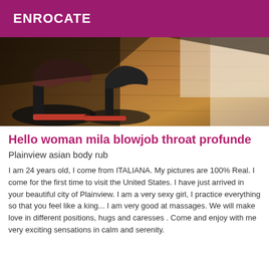ENROCATE
[Figure (photo): Close-up photo of a woman's high-heeled shoes on a wooden floor background]
Hello woman mila blowjob throat profunde
Plainview asian body rub
I am 24 years old, I come from ITALIANA. My pictures are 100% Real. I come for the first time to visit the United States. I have just arrived in your beautiful city of Plainview. I am a very sexy girl, I practice everything so that you feel like a king... I am very good at massages. We will make love in different positions, hugs and caresses . Come and enjoy with me very exciting sensations in calm and serenity.